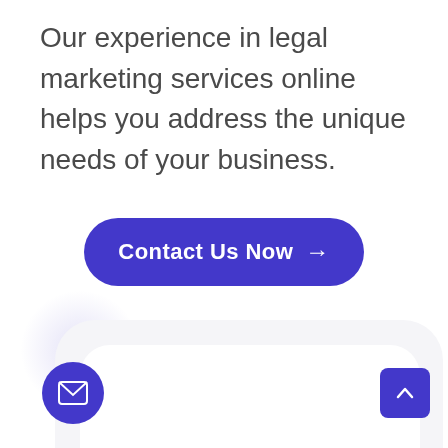Our experience in legal marketing services online helps you address the unique needs of your business.
[Figure (other): A rounded purple pill-shaped call-to-action button labeled 'Contact Us Now' with a right arrow, centered on the page]
[Figure (other): A light gray rounded card/panel in the lower portion of the page, with a white inner card. A purple circular mail icon button is in the bottom-left, and a purple square scroll-to-top button is in the bottom-right.]